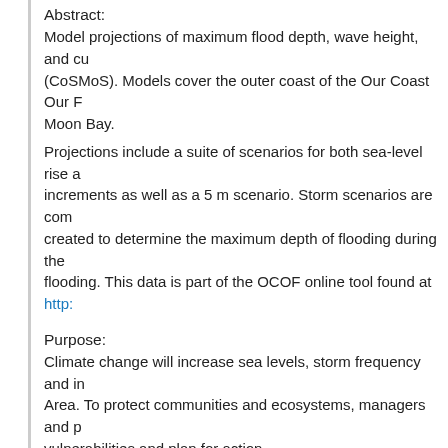Abstract:
Model projections of maximum flood depth, wave height, and cu (CoSMoS). Models cover the outer coast of the Our Coast Our Future Moon Bay.
Projections include a suite of scenarios for both sea-level rise a increments as well as a 5 m scenario. Storm scenarios are com created to determine the maximum depth of flooding during the flooding. This data is part of the OCOF online tool found at http:
Purpose:
Climate change will increase sea levels, storm frequency and in Area. To protect communities and ecosystems, managers and p vulnerabilities and plan for action.
Gulf of the Farallones National Marine Sanctuary, PRBO Conse Estuarine Research Reserve and the National Park Service hav hazards. Results are made available via the Our Coast–Our Fut governments and others with science-based decision-support to local coastal climate change impacts.
CoSMoS outputs will be used to map and assess vulnerabilities
Supplemental Information: